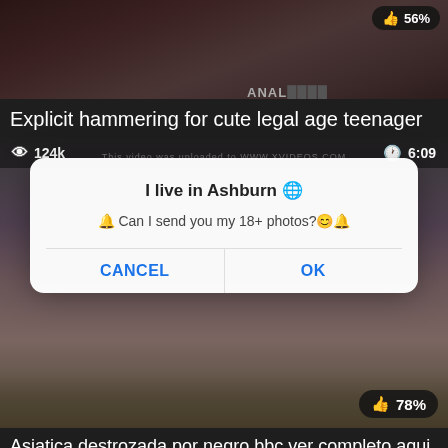[Figure (screenshot): Screenshot of adult video website showing two video thumbnails and a browser dialog popup. Top video titled 'Explicit hammering for cute legal age teenager' with 56% rating. Second video with stats 124k views, 6:09 duration, watermark 'This video was uploaded to WWW.XVIDEOS.COM', and 78% rating. A browser dialog overlay reads 'I live in Ashburn' with message 'Can I send you my 18+ photos?' and CANCEL/OK buttons. Bottom shows partial title 'Asiatica destrozada por negro bbc ver completo aqui http://bit.ly/2upuvq9'.]